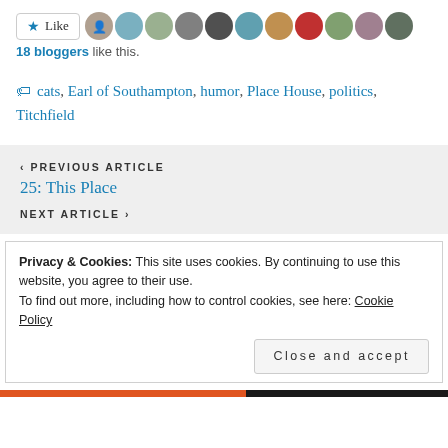[Figure (screenshot): Like button with star icon and row of blogger avatar thumbnails]
18 bloggers like this.
cats, Earl of Southampton, humor, Place House, politics, Titchfield
< PREVIOUS ARTICLE
25: This Place
NEXT ARTICLE >
Privacy & Cookies: This site uses cookies. By continuing to use this website, you agree to their use.
To find out more, including how to control cookies, see here: Cookie Policy
Close and accept